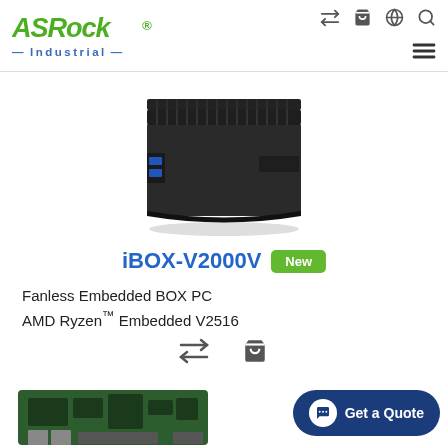ASRock Industrial
[Figure (photo): ASRock Industrial iBOX-V2000V fanless embedded box PC — compact black aluminum chassis with cooling fins on top]
iBOX-V2000V New
Fanless Embedded BOX PC
AMD Ryzen™ Embedded V2516
[Figure (other): Compare and shopping cart action icons]
[Figure (photo): Partial view of a second ASRock Industrial product (circuit board) at the bottom of the page]
Get a Quote